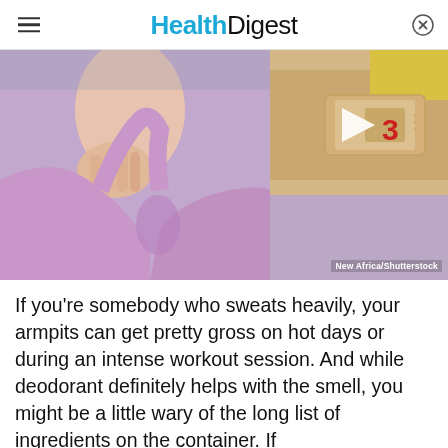Health Digest
[Figure (photo): Left side: woman in pink/purple tank top touching her neck/armpit area showing sweat. Right side: video thumbnail showing a bandage/patch on skin with a white play button triangle and red number 3. Watermark: New Africa/Shutterstock]
New Africa/Shutterstock
If you're somebody who sweats heavily, your armpits can get pretty gross on hot days or during an intense workout session. And while deodorant definitely helps with the smell, you might be a little wary of the long list of ingredients on the container. If